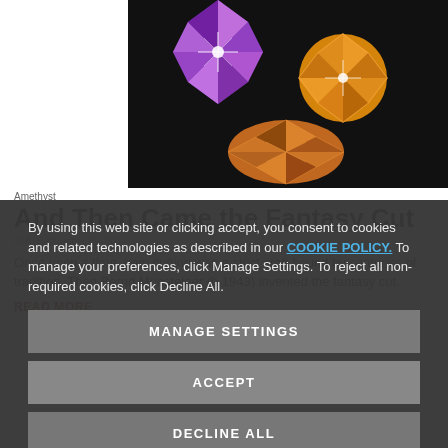[Figure (photo): Three fantasy-cut gemstones with purple, pink, and golden-orange coloring displayed on a dark background, showing intricate faceting patterns.]
Amethyst
And Then Came the Fantasy Cut
GIA, September 29, 2014
Once upon a time, gem cutting was a strict craft bound by centuries of tradition. Then Bernd Munsteiner (b.1943) invented the fantasy cut.
READ MORE
By using this web site or clicking accept, you consent to cookies and related technologies as described in our COOKIE POLICY. To manage your preferences, click Manage Settings. To reject all non-required cookies, click Decline All.